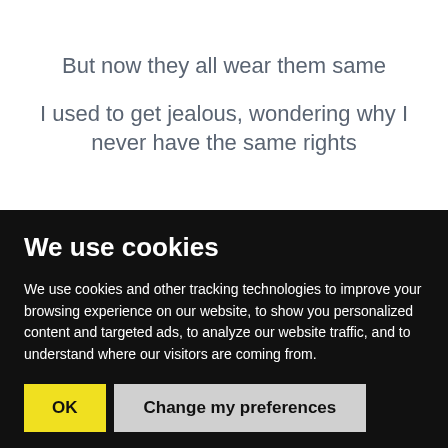But now they all wear them same
I used to get jealous, wondering why I never have the same rights
We use cookies
We use cookies and other tracking technologies to improve your browsing experience on our website, to show you personalized content and targeted ads, to analyze our website traffic, and to understand where our visitors are coming from.
OK
Change my preferences